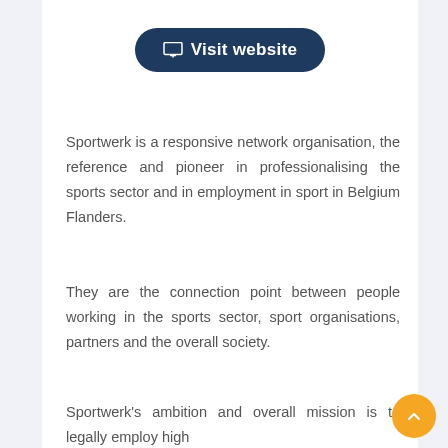[Figure (other): Visit website button with monitor icon, dark navy blue pill-shaped button with white text]
Sportwerk is a responsive network organisation, the reference and pioneer in professionalising the sports sector and in employment in sport in Belgium Flanders.
They are the connection point between people working in the sports sector, sport organisations, partners and the overall society.
Sportwerk's ambition and overall mission is to legally employ high